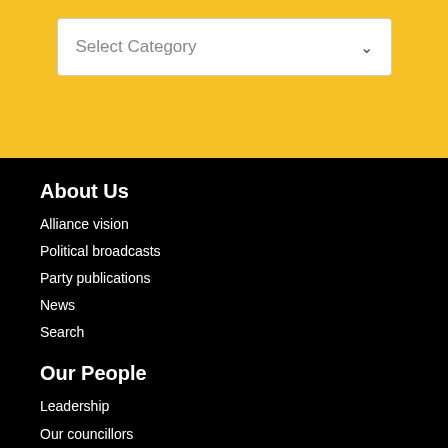[Figure (screenshot): Dropdown selector with 'Select Category' placeholder text and a chevron arrow on the right, on a yellow background]
About Us
Alliance vision
Political broadcasts
Party publications
News
Search
Our People
Leadership
Our councillors
Our MEP
Our MLAs
Contacting us